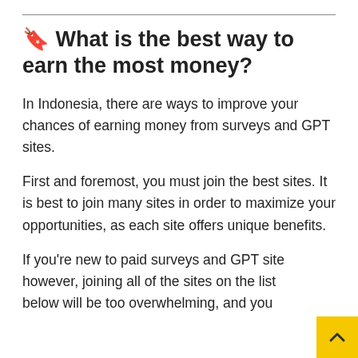🔖 What is the best way to earn the most money?
In Indonesia, there are ways to improve your chances of earning money from surveys and GPT sites.
First and foremost, you must join the best sites. It is best to join many sites in order to maximize your opportunities, as each site offers unique benefits.
If you're new to paid surveys and GPT sites, however, joining all of the sites on the list below will be too overwhelming, and you